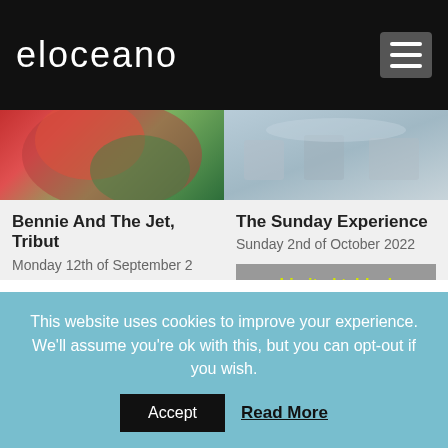eloceano
[Figure (photo): Musician in red jacket performing outdoors]
Bennie And The Jet, Tribut
Monday 12th of September 2
Book your table
[Figure (photo): Restaurant dining setup with tables and chairs]
The Sunday Experience
Sunday 2nd of October 2022
Limited tables!
[Figure (photo): Bright restaurant interior with 21st Birthday overlay]
[Figure (photo): Musician performing under purple stage lights with 21st Birthday overlay]
This website uses cookies to improve your experience. We'll assume you're ok with this, but you can opt-out if you wish.
Accept
Read More